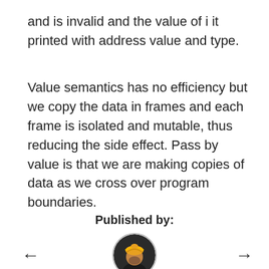and is invalid and the value of i it printed with address value and type.
Value semantics has no efficiency but we copy the data in frames and each frame is isolated and mutable, thus reducing the side effect. Pass by value is that we are making copies of data as we cross over program boundaries.
Published by:
[Figure (photo): Circular avatar photo of a person wearing a yellow turban]
[Figure (other): Left arrow navigation button]
[Figure (other): Right arrow navigation button]
SHARE
TWEET